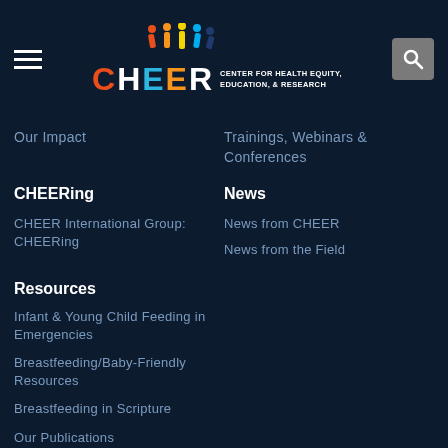CHEER Center for Health Equity, Education, & Research
Our Impact
Trainings, Webinars & Conferences
CHEERing
News
CHEER International Group: CHEERing
News from CHEER
News from the Field
Resources
Infant & Young Child Feeding in Emergencies
Breastfeeding/Baby-Friendly Resources
Breastfeeding in Scripture
Our Publications